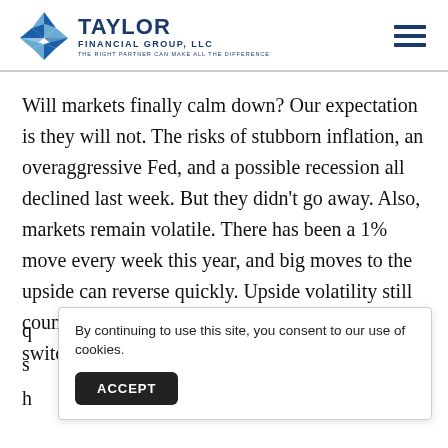Taylor Financial Group, LLC — The right partner can make all the difference
Will markets finally calm down? Our expectation is they will not. The risks of stubborn inflation, an overaggressive Fed, and a possible recession all declined last week. But they didn't go away. Also, markets remain volatile. There has been a 1% move every week this year, and big moves to the upside can reverse quickly. Upside volatility still counts as volatility and suggests investors can switch their sentiments q... s... h...
By continuing to use this site, you consent to our use of cookies.